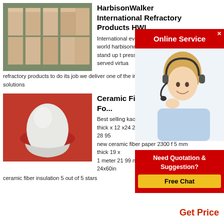[Figure (photo): Refractory brick products stacked in rows, tan/beige colored bricks]
HarbisonWalker International Refractory Products HWI
International every day around the world harbisonwalker inte... products stand up t... pressures of every... we ve served virtua refractory products to do its job we deliver one of the ir lines of refractory solutions
[Figure (photo): Online Service popup with customer service representative wearing headset]
[Figure (photo): White ceramic fiber powder/kaowool on red background]
Ceramic Fiber Insulation Fo...
Best selling kaowool... thick x 12 x24 2400f fireproof blanket 28 95 new ceramic fiber paper 2300 f 5 mm thick 19 x 1 meter 21 99 new unitherm cf6 1 24x60in ceramic fiber insulation 5 out of 5 stars
Get Price